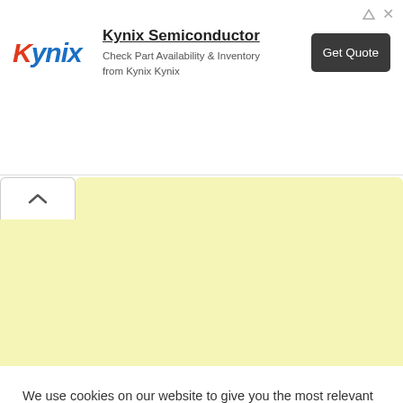[Figure (infographic): Kynix Semiconductor advertisement banner with logo, text, and Get Quote button]
[Figure (screenshot): Collapsed yellow accordion/tab section with up-arrow button]
The selection of the best songs with powerful bass and heavy bass from many
We use cookies on our website to give you the most relevant experience by remembering your preferences and repeat visits. By clicking "Accept All", you consent to the use of ALL the cookies. However, you may visit "Cookie Settings" to provide a controlled consent.